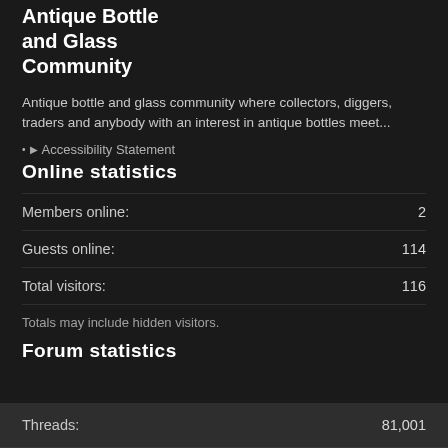Antique Bottle and Glass Community
Antique bottle and glass community where collectors, diggers, traders and anybody with an interest in antique bottles meet...
Accessibility Statement
Online statistics
| Stat | Value |
| --- | --- |
| Members online: | 2 |
| Guests online: | 114 |
| Total visitors: | 116 |
Totals may include hidden visitors.
Forum statistics
| Stat | Value |
| --- | --- |
| Threads: | 81,001 |